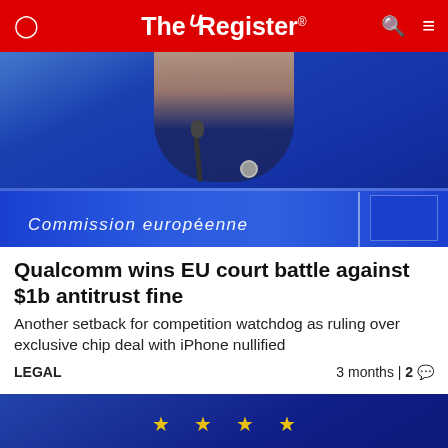The Register
[Figure (photo): Woman at a European Commission podium with 'Commission européenne' text visible on the blue lectern]
Qualcomm wins EU court battle against $1b antitrust fine
Another setback for competition watchdog as ruling over exclusive chip deal with iPhone nullified
LEGAL   3 months | 2 comments
[Figure (photo): EU breaking news graphic with blue background, gold stars, and red BREAKING banner]